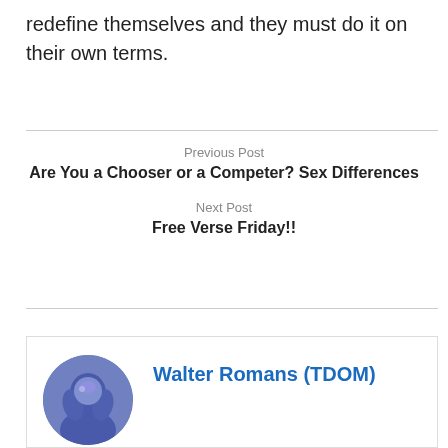redefine themselves and they must do it on their own terms.
Previous Post
Are You a Chooser or a Competer? Sex Differences
Next Post
Free Verse Friday!!
Walter Romans (TDOM)